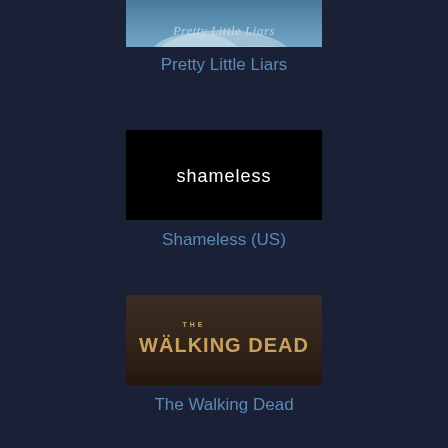[Figure (screenshot): Pretty Little Liars title card - partially visible at top, blue/teal cloudy sky background with cursive text]
Pretty Little Liars
[Figure (screenshot): Shameless title card - black background with white lowercase sans-serif text reading 'shameless']
Shameless (US)
[Figure (screenshot): The Walking Dead title card - dark brownish background with distressed block letter logo reading 'THE WALKING DEAD']
The Walking Dead